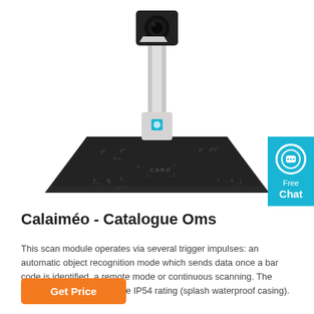[Figure (photo): Product photo of a document scanner with a black flat scanning base and a white arm/neck holding a camera module at the top. The base has printed alignment markers. The scanner is shown from the front on a white background.]
Calaméo - Catalogue Oms
This scan module operates via several trigger impulses: an automatic object recognition mode which sends data once a bar code is identified, a remote mode or continuous scanning. The scanner is certified with the IP54 rating (splash waterproof casing).
Get Price